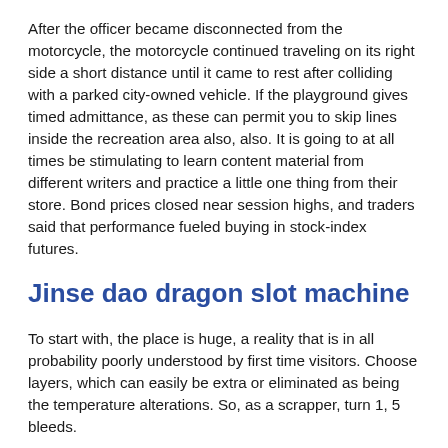After the officer became disconnected from the motorcycle, the motorcycle continued traveling on its right side a short distance until it came to rest after colliding with a parked city-owned vehicle. If the playground gives timed admittance, as these can permit you to skip lines inside the recreation area also, also. It is going to at all times be stimulating to learn content material from different writers and practice a little one thing from their store. Bond prices closed near session highs, and traders said that performance fueled buying in stock-index futures.
Jinse dao dragon slot machine
To start with, the place is huge, a reality that is in all probability poorly understood by first time visitors. Choose layers, which can easily be extra or eliminated as being the temperature alterations. So, as a scrapper, turn 1, 5 bleeds.